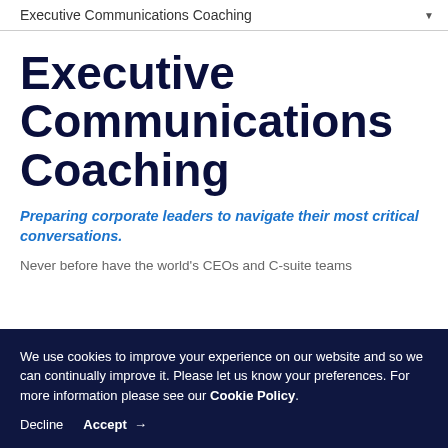Executive Communications Coaching
Executive Communications Coaching
Preparing corporate leaders to navigate their most critical conversations.
Never before have the world's CEOs and C-suite teams
We use cookies to improve your experience on our website and so we can continually improve it. Please let us know your preferences. For more information please see our Cookie Policy.
Decline   Accept →